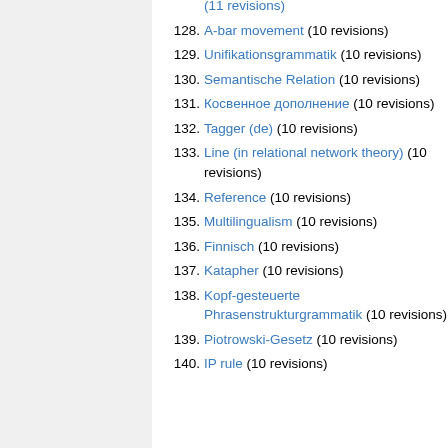(11 revisions)
128. A-bar movement (10 revisions)
129. Unifikationsgrammatik (10 revisions)
130. Semantische Relation (10 revisions)
131. Косвенное дополнение (10 revisions)
132. Tagger (de) (10 revisions)
133. Line (in relational network theory) (10 revisions)
134. Reference (10 revisions)
135. Multilingualism (10 revisions)
136. Finnisch (10 revisions)
137. Katapher (10 revisions)
138. Kopf-gesteuerte Phrasenstrukturgrammatik (10 revisions)
139. Piotrowski-Gesetz (10 revisions)
140. IP rule (10 revisions)